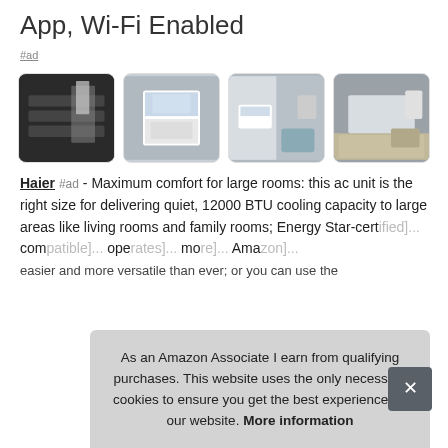App, Wi-Fi Enabled
#ad
[Figure (photo): Four product photos of an air conditioner unit in various room settings: hand installing filter, AC unit in window from outside, AC unit in room with teal chair, AC unit in living room.]
Haier #ad - Maximum comfort for large rooms: this ac unit is the right size for delivering quiet, 12000 BTU cooling capacity to large areas like living rooms and family rooms; Energy Star-cert[ified]... com[patible]... ope[rates]... mo[re]... Ama[zon]... easier and more versatile than ever; or you can use the
As an Amazon Associate I earn from qualifying purchases. This website uses the only necessary cookies to ensure you get the best experience on our website. More information